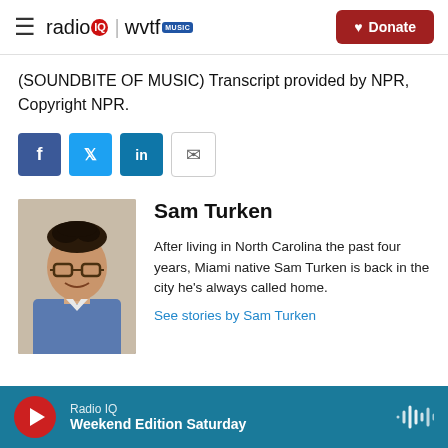radio IQ | wvtf MUSIC  Donate
(SOUNDBITE OF MUSIC) Transcript provided by NPR, Copyright NPR.
[Figure (infographic): Social share buttons: Facebook (blue), Twitter (blue), LinkedIn (blue), Email (outline)]
[Figure (photo): Headshot of Sam Turken, a man with glasses and dark hair wearing a plaid shirt, smiling]
Sam Turken
After living in North Carolina the past four years, Miami native Sam Turken is back in the city he's always called home.
See stories by Sam Turken
Radio IQ  Weekend Edition Saturday